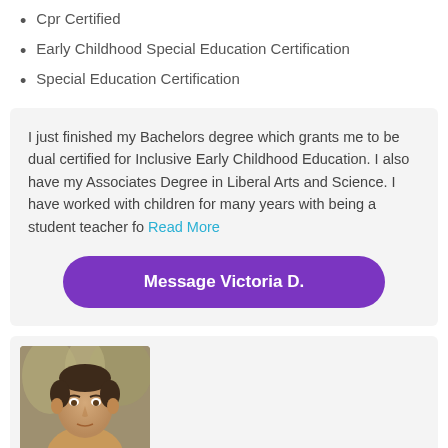Cpr Certified
Early Childhood Special Education Certification
Special Education Certification
I just finished my Bachelors degree which grants me to be dual certified for Inclusive Early Childhood Education. I also have my Associates Degree in Liberal Arts and Science. I have worked with children for many years with being a student teacher fo Read More
Message Victoria D.
[Figure (photo): Profile photo of a man with short dark hair against a blurred outdoor background]